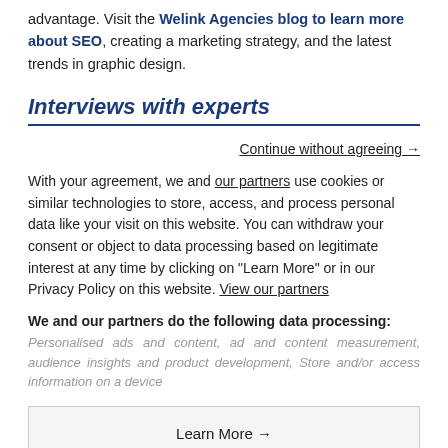advantage. Visit the Welink Agencies blog to learn more about SEO, creating a marketing strategy, and the latest trends in graphic design.
Interviews with experts
Continue without agreeing →
With your agreement, we and our partners use cookies or similar technologies to store, access, and process personal data like your visit on this website. You can withdraw your consent or object to data processing based on legitimate interest at any time by clicking on "Learn More" or in our Privacy Policy on this website. View our partners
We and our partners do the following data processing:
Personalised ads and content, ad and content measurement, audience insights and product development, Store and/or access information on a device
Learn More →
Agree and close